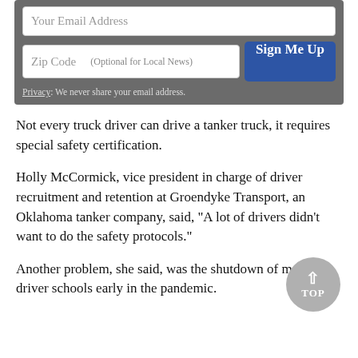[Figure (screenshot): Email signup form with zip code field and Sign Me Up button on gray background, with privacy notice]
Not every truck driver can drive a tanker truck, it requires special safety certification.
Holly McCormick, vice president in charge of driver recruitment and retention at Groendyke Transport, an Oklahoma tanker company, said, “A lot of drivers didn't want to do the safety protocols.”
Another problem, she said, was the shutdown of many driver schools early in the pandemic.